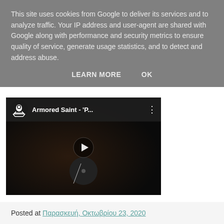This site uses cookies from Google to deliver its services and to analyze traffic. Your IP address and user-agent are shared with Google along with performance and security metrics to ensure quality of service, generate usage statistics, and to detect and address abuse.
LEARN MORE    OK
[Figure (screenshot): YouTube video embed showing 'Armored Saint - P...' with Metal Blade Records logo, dark thumbnail with vinyl record imagery and a play button overlay]
Posted at Παρασκευή, Οκτωβρίου 23, 2020